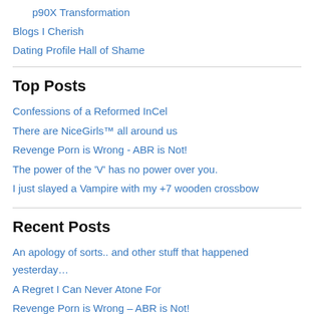p90X Transformation
Blogs I Cherish
Dating Profile Hall of Shame
Top Posts
Confessions of a Reformed InCel
There are NiceGirls™ all around us
Revenge Porn is Wrong - ABR is Not!
The power of the 'V' has no power over you.
I just slayed a Vampire with my +7 wooden crossbow
Recent Posts
An apology of sorts.. and other stuff that happened yesterday…
A Regret I Can Never Atone For
Revenge Porn is Wrong – ABR is Not!
Merry Christmas
Attaining Respect in a Man's World